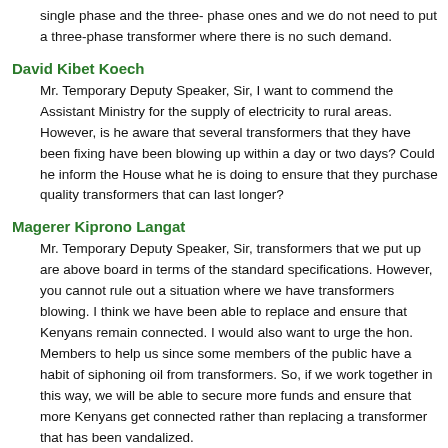single phase and the three- phase ones and we do not need to put a three-phase transformer where there is no such demand.
David Kibet Koech
Mr. Temporary Deputy Speaker, Sir, I want to commend the Assistant Ministry for the supply of electricity to rural areas. However, is he aware that several transformers that they have been fixing have been blowing up within a day or two days? Could he inform the House what he is doing to ensure that they purchase quality transformers that can last longer?
Magerer Kiprono Langat
Mr. Temporary Deputy Speaker, Sir, transformers that we put up are above board in terms of the standard specifications. However, you cannot rule out a situation where we have transformers blowing. I think we have been able to replace and ensure that Kenyans remain connected. I would also want to urge the hon. Members to help us since some members of the public have a habit of siphoning oil from transformers. So, if we work together in this way, we will be able to secure more funds and ensure that more Kenyans get connected rather than replacing a transformer that has been vandalized.